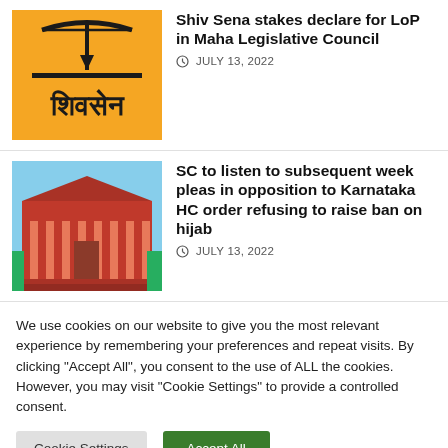[Figure (photo): Shiv Sena orange logo with bow-arrow symbol and Devanagari text on orange background]
Shiv Sena stakes declare for LoP in Maha Legislative Council
JULY 13, 2022
[Figure (photo): Red colonial-era High Court building with columns, blue sky background — Karnataka High Court]
SC to listen to subsequent week pleas in opposition to Karnataka HC order refusing to raise ban on hijab
JULY 13, 2022
We use cookies on our website to give you the most relevant experience by remembering your preferences and repeat visits. By clicking "Accept All", you consent to the use of ALL the cookies. However, you may visit "Cookie Settings" to provide a controlled consent.